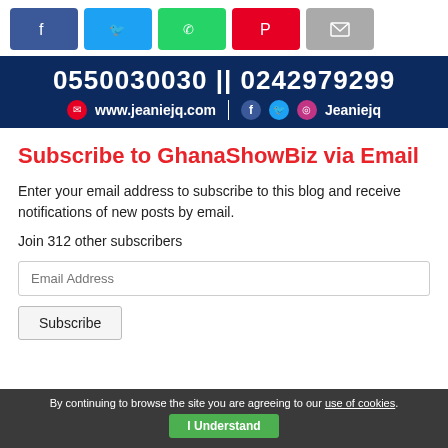[Figure (other): Social share buttons row: Facebook (blue), Twitter (light blue), WhatsApp (green), Pinterest (red), Email (gray)]
[Figure (other): Dark navy banner with phone numbers 0550030030 || 0242979299, website www.jeaniejq.com, and social icons with text Jeaniejq]
Subscribe to GhanaShowBiz via Email
Enter your email address to subscribe to this blog and receive notifications of new posts by email.
Join 312 other subscribers
Email Address
Subscribe
By continuing to browse the site you are agreeing to our use of cookies. I Understand